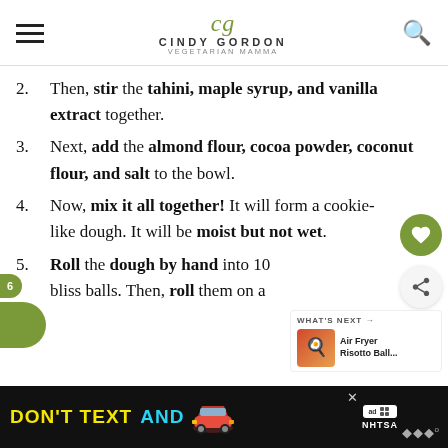Cindy Gordon — Vegetarian Mamma
2. Then, stir the tahini, maple syrup, and vanilla extract together.
3. Next, add the almond flour, cocoa powder, coconut flour, and salt to the bowl.
4. Now, mix it all together! It will form a cookie-like dough. It will be moist but not wet.
5. Roll the dough by hand into 10 bliss balls. Then, roll them on a
[Figure (other): Ad banner: DON'T TEXT AND [car emoji] — NHTSA advertisement]
[Figure (other): What's Next widget showing Air Fryer Risotto Ball...]